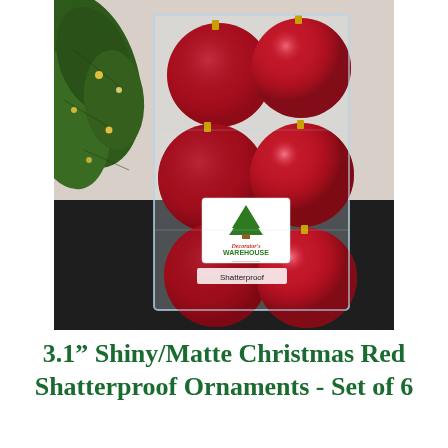[Figure (photo): A clear plastic box packaging containing 6 red Christmas ornament balls (mix of matte and shiny finish) with gold hangers, sitting on a dark surface. A green Christmas tree branch with small lights is visible to the left. A white label on the packaging shows the Decorator's Warehouse logo with a green Christmas tree illustration and the word 'Shatterproof'.]
3.1" Shiny/Matte Christmas Red Shatterproof Ornaments - Set of 6